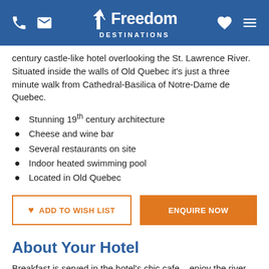Freedom Destinations
century castle-like hotel overlooking the St. Lawrence River. Situated inside the walls of Old Quebec it's just a three minute walk from Cathedral-Basilica of Notre-Dame de Quebec.
Stunning 19th century architecture
Cheese and wine bar
Several restaurants on site
Indoor heated swimming pool
Located in Old Quebec
ADD TO WISH LIST   ENQUIRE NOW
About Your Hotel
Breakfast is served in the hotel's chic cafe – enjoy the river